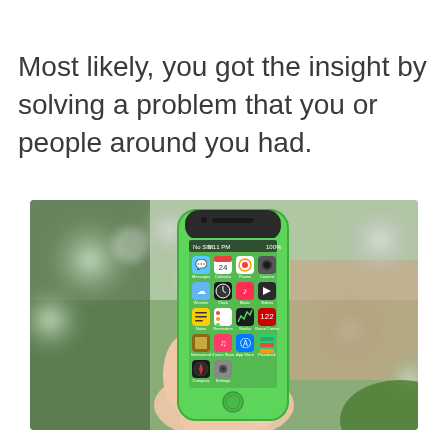Most likely, you got the insight by solving a problem that you or people around you had.
[Figure (photo): A hand holding a green iPhone 5c with the home screen visible, showing various iOS app icons including Messages, Calendar, Photos, Camera, Weather, Clock, Music, Videos, Notes, Reminders, Stocks, Game Center, Newsstand, iTunes Store, App Store, Passbook, Compass, and Settings. The background is blurred with green foliage and a building visible.]